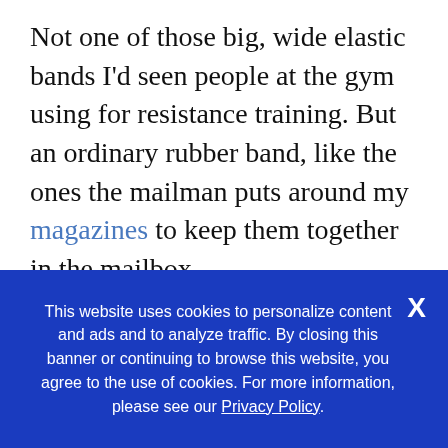Not one of those big, wide elastic bands I'd seen people at the gym using for resistance training. But an ordinary rubber band, like the ones the mailman puts around my magazines to keep them together in the mailbox.
Teresa took my right arm and tugged the band onto my wrist, a determined look on her face. "This will solve your problem," she assured me.
Excuse me? I didn't mean to be rude, but I had to
This website uses cookies to personalize content and ads and to analyze traffic. By closing this banner or continuing to browse this website, you agree to the use of cookies. For more information, please see our Privacy Policy.